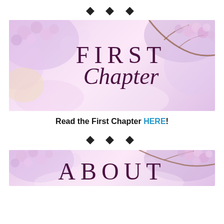♦ ♦ ♦
[Figure (illustration): Banner image with pink cherry blossom flowers and text reading 'FIRST Chapter' in dark purple serif/script typography on a soft pink floral background]
Read the First Chapter HERE!
♦ ♦ ♦
[Figure (illustration): Partial banner image with pink cherry blossom flowers and partial text 'ABOUT' in dark purple typography on a soft pink floral background, cut off at bottom of page]